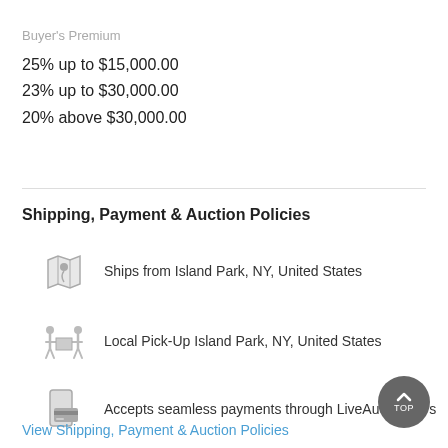Buyer's Premium
25% up to $15,000.00
23% up to $30,000.00
20% above $30,000.00
Shipping, Payment & Auction Policies
Ships from Island Park, NY, United States
Local Pick-Up Island Park, NY, United States
Accepts seamless payments through LiveAuctioneers
View Shipping, Payment & Auction Policies